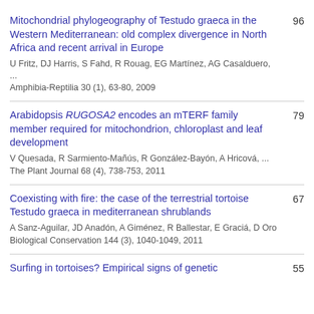Mitochondrial phylogeography of Testudo graeca in the Western Mediterranean: old complex divergence in North Africa and recent arrival in Europe | U Fritz, DJ Harris, S Fahd, R Rouag, EG Martínez, AG Casalduero, ... | Amphibia-Reptilia 30 (1), 63-80, 2009 | 96
Arabidopsis RUGOSA2 encodes an mTERF family member required for mitochondrion, chloroplast and leaf development | V Quesada, R Sarmiento-Mañús, R González-Bayón, A Hricová, ... | The Plant Journal 68 (4), 738-753, 2011 | 79
Coexisting with fire: the case of the terrestrial tortoise Testudo graeca in mediterranean shrublands | A Sanz-Aguilar, JD Anadón, A Giménez, R Ballestar, E Graciá, D Oro | Biological Conservation 144 (3), 1040-1049, 2011 | 67
Surfing in tortoises? Empirical signs of genetic | 55